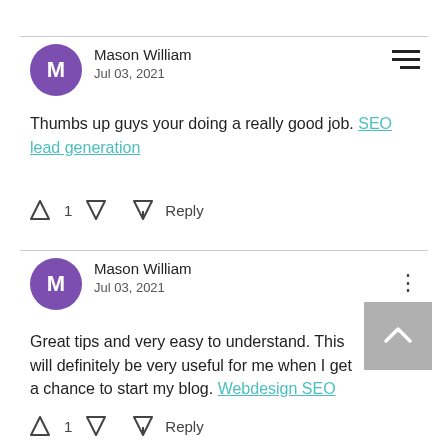Mason William
Jul 03, 2021
Thumbs up guys your doing a really good job. SEO lead generation
1  Reply
Mason William
Jul 03, 2021
Great tips and very easy to understand. This will definitely be very useful for me when I get a chance to start my blog. Webdesign SEO
1  Reply